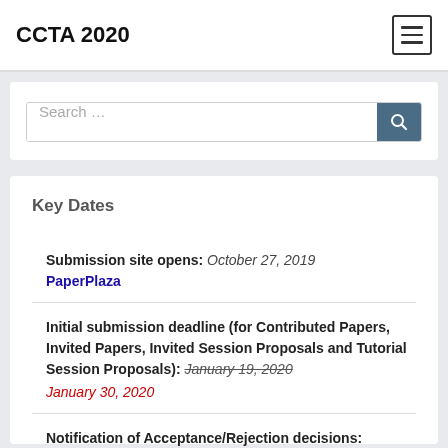CCTA 2020
Search …
Key Dates
Submission site opens: October 27, 2019
PaperPlaza
Initial submission deadline (for Contributed Papers, Invited Papers, Invited Session Proposals and Tutorial Session Proposals): January 19, 2020 January 30, 2020
Notification of Acceptance/Rejection decisions: